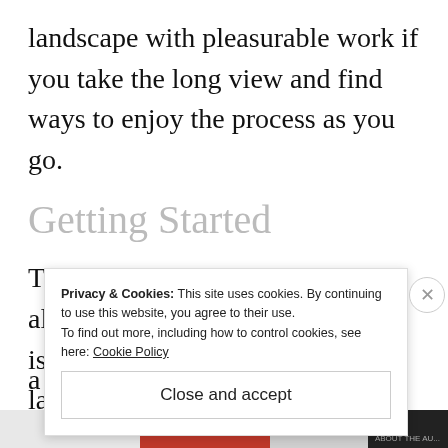landscape with pleasurable work if you take the long view and find ways to enjoy the process as you go.
Getting Started
The first step in permaculture is always observe and interact. This is about getting to know your landscape and also nature. Matt
[Figure (screenshot): Cookie consent banner overlay with text: 'Privacy & Cookies: This site uses cookies. By continuing to use this website, you agree to their use. To find out more, including how to control cookies, see here: Cookie Policy' and a 'Close and accept' button, with a circular X close button on the right.]
[Figure (photo): Partial bottom image strip showing red, light grey, and dark grey/black color bands, with small text 'ABOUT THE AU...' at bottom right.]